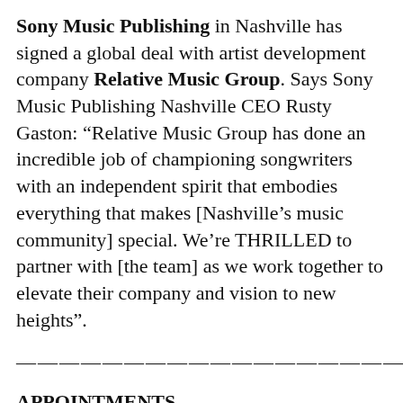Sony Music Publishing in Nashville has signed a global deal with artist development company Relative Music Group. Says Sony Music Publishing Nashville CEO Rusty Gaston: “Relative Music Group has done an incredible job of championing songwriters with an independent spirit that embodies everything that makes [Nashville’s music community] special. We’re THRILLED to partner with [the team] as we work together to elevate their company and vision to new heights”.
————————————————————
APPOINTMENTS
Universal Music has appointed Manuel Martos as General Manager of Virgin Music Label & Artist Services Spain. “I am very grateful for the trust the company has placed in me”, he says. “It is a real